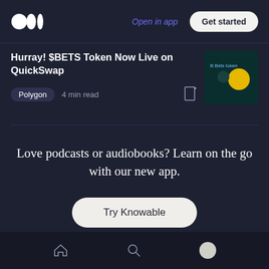Open in app  Get started
Hurray! $BETS Token Now Live on QuickSwap
Polygon  4 min read
Love podcasts or audiobooks? Learn on the go with our new app.
Try Knowable
Home  Search  Profile